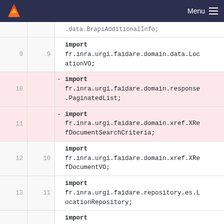Menu
9  9   import fr.inra.urgi.faidare.domain.data.LocationVO;
10  -  import fr.inra.urgi.faidare.domain.response.PaginatedList;
11  -  import fr.inra.urgi.faidare.domain.xref.XRefDocumentSearchCriteria;
12  10  import fr.inra.urgi.faidare.domain.xref.XRefDocumentVO;
13  11  import fr.inra.urgi.faidare.repository.es.LocationRepository;
14  12  import fr.inra.urgi.faidare.repository.es.XRefDocumentRepository;
...  ...  @@ -22,7 +20,7 @@ import